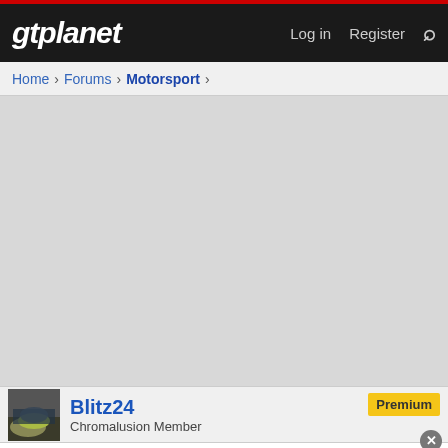gtplanet | Log in | Register
Home > Forums > Motorsport >
[Figure (screenshot): Gray empty content area representing a forum page content region]
[Figure (photo): User avatar thumbnail showing a car]
Blitz24
Chromalusion Member
Premium